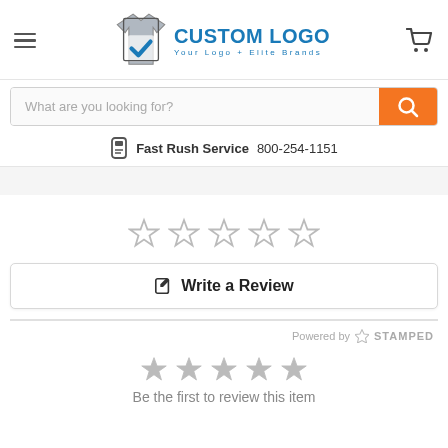[Figure (logo): Custom Logo brand logo with t-shirt and checkmark icon, text 'CUSTOM LOGO' in blue and gray, tagline 'Your Logo + Elite Brands']
What are you looking for?
Fast Rush Service 800-254-1151
[Figure (other): Five empty star rating icons]
✎ Write a Review
Powered by ⚡ STAMPED
[Figure (other): Five filled gray star rating icons]
Be the first to review this item